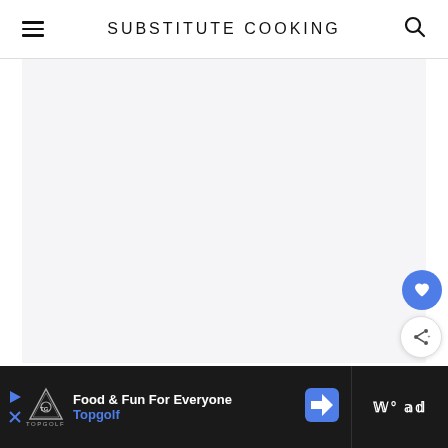SUBSTITUTE COOKING
[Figure (other): Large light gray placeholder content area below the site header]
[Figure (other): Blue circular heart/favorite floating action button]
[Figure (other): White circular share floating action button]
[Figure (other): Advertisement banner: Topgolf - Food & Fun For Everyone, with logo, directional sign icon, and additional ad content on right side]